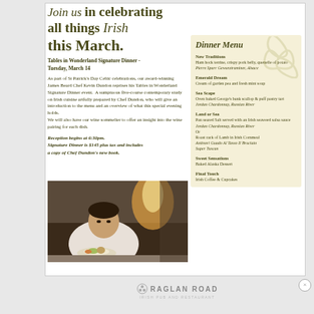Join us in celebrating all things Irish this March.
Tables in Wonderland Signature Dinner - Tuesday, March 14
As part of St Patrick's Day Celtic celebrations, our award-winning James Beard Chef Kevin Dundon reprises his Tables in Wonderland Signature Dinner event. A sumptuous five-course contemporary study on Irish cuisine artfully prepared by Chef Dundon, who will give an introduction to the menu and an overview of what this special evening holds. We will also have our wine sommelier to offer an insight into the wine pairing for each dish.
Reception begins at 6:30pm. Signature Dinner is $145 plus tax and includes a copy of Chef Dundon's new book.
[Figure (photo): Chef Kevin Dundon plating a dish in the kitchen]
Dinner Menu
New Traditions
Ham hock terrine, crispy pork belly, quenelle of potato
Pierre Sparr Gewurztraminer, Alsace
Emerald Dream
Cream of garden pea and fresh mint soup
Sea Scape
Oven baked George's bank scallop & puff pastry tart
Jordan Chardonnay, Russian River
Land or Sea
Pan seared Salt served with an Irish seaweed salsa sauce
Jordan Chardonnay, Russian River
Or
Roast rack of Lamb in Irish Cornmeal
Antinori Guado Al Tasso Il Bruciato
Super Tuscan
Sweet Sensations
Baked Alaska Dessert
Final Touch
Irish Coffee & Cupcakes
RAGLAN ROAD IRISH PUB AND RESTAURANT